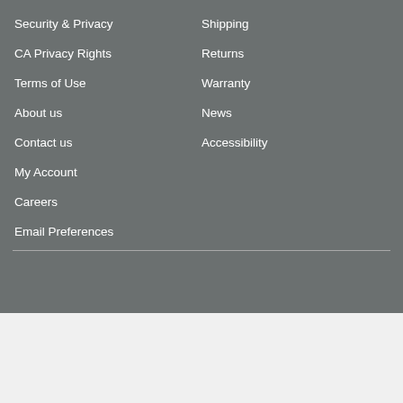Security & Privacy
Shipping
CA Privacy Rights
Returns
Terms of Use
Warranty
About us
News
Contact us
Accessibility
My Account
Careers
Email Preferences
[Figure (screenshot): Visit AC Wholesalers on Facebook banner image]
- 1 + Add To Cart